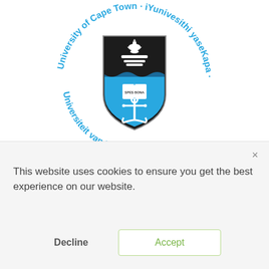[Figure (logo): University of Cape Town circular logo with shield coat of arms showing lamp, ship, open book with SPES BONA, and anchor on blue background. Circular text reads: University of Cape Town · iYunivesithi yaseKapa · Universiteit van Kaapstad (bottom text inverted)]
This website uses cookies to ensure you get the best experience on our website.
Decline
Accept